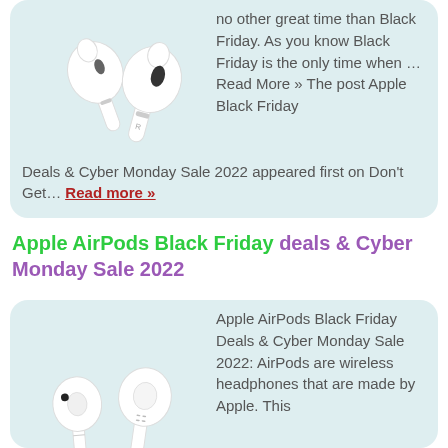[Figure (illustration): Apple AirPods Pro earbuds on light blue-green background card]
no other great time than Black Friday. As you know Black Friday is the only time when … Read More » The post Apple Black Friday Deals & Cyber Monday Sale 2022 appeared first on Don't Get… Read more »
Apple AirPods Black Friday deals & Cyber Monday Sale 2022
[Figure (illustration): Apple AirPods (standard) earbuds on light blue-green background card]
Apple AirPods Black Friday Deals & Cyber Monday Sale 2022: AirPods are wireless headphones that are made by Apple. This